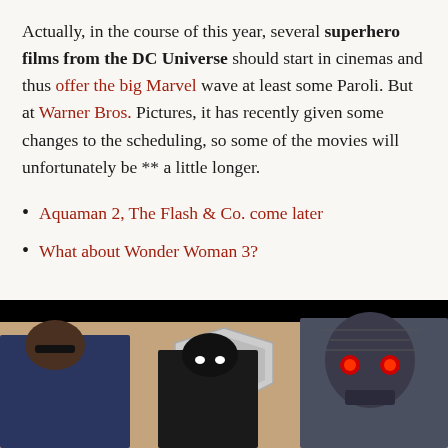Actually, in the course of this year, several superhero films from the DC Universe should start in cinemas and thus offer the big Marvel wave at least some Paroli. But at Warner Bros. Pictures, it has recently given some changes to the scheduling, so some of the movies will unfortunately be ** a little longer.
Aquaman 2, The Flash & Co. come later
What about Wonder Woman 3?
[Figure (photo): Photo of DC Universe superhero characters including figures in dark costumes against a tan/beige background with a Superman shield logo visible]